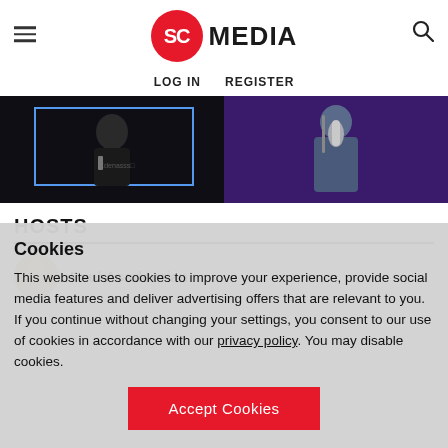SC MEDIA
LOG IN   REGISTER
[Figure (screenshot): Video thumbnail showing two people: one in dark clothing on left with a blue outline box overlay, and one wearing headphones at a microphone on a purple-lit background on the right.]
HOSTS
Paul Asadoorian
Cookies
This website uses cookies to improve your experience, provide social media features and deliver advertising offers that are relevant to you. If you continue without changing your settings, you consent to our use of cookies in accordance with our privacy policy. You may disable cookies.